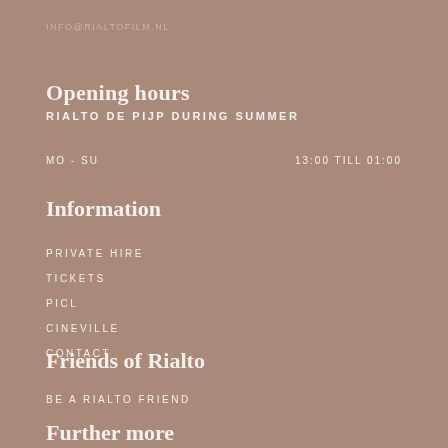INFO@RIALTOFILM.NL
Opening hours
RIALTO DE PIJP DURING SUMMER
MO - SU    13:00 TILL 01:00
Information
PRIVATE HIRE
TICKETS
PICL
CINEVILLE
CONTACT
Friends of Rialto
BE A RIALTO FRIEND
Further more